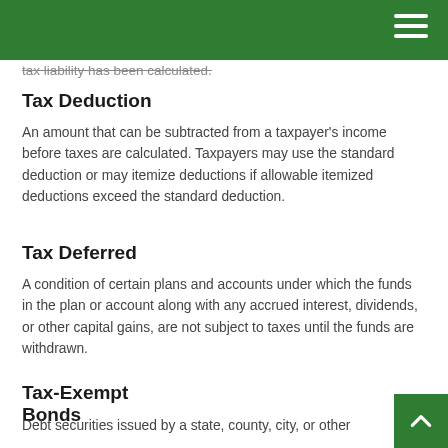tax liability has been calculated.
Tax Deduction
An amount that can be subtracted from a taxpayer's income before taxes are calculated. Taxpayers may use the standard deduction or may itemize deductions if allowable itemized deductions exceed the standard deduction.
Tax Deferred
A condition of certain plans and accounts under which the funds in the plan or account along with any accrued interest, dividends, or other capital gains, are not subject to taxes until the funds are withdrawn.
Tax-Exempt Bonds
Debt securities issued by a state, county, city, or other